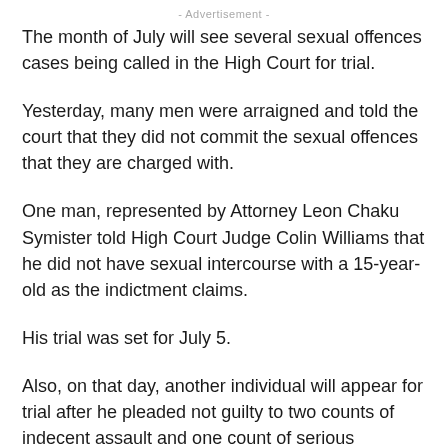- Advertisement -
The month of July will see several sexual offences cases being called in the High Court for trial.
Yesterday, many men were arraigned and told the court that they did not commit the sexual offences that they are charged with.
One man, represented by Attorney Leon Chaku Symister told High Court Judge Colin Williams that he did not have sexual intercourse with a 15-year-old as the indictment claims.
His trial was set for July 5.
Also, on that day, another individual will appear for trial after he pleaded not guilty to two counts of indecent assault and one count of serious indecency.
It is believed that on March 18, 2019 at Cassada Gardens, he